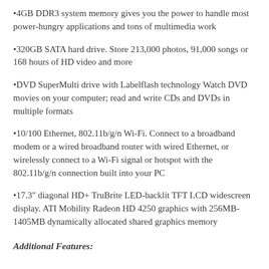•4GB DDR3 system memory gives you the power to handle most power-hungry applications and tons of multimedia work
•320GB SATA hard drive. Store 213,000 photos, 91,000 songs or 168 hours of HD video and more
•DVD SuperMulti drive with Labelflash technology Watch DVD movies on your computer; read and write CDs and DVDs in multiple formats
•10/100 Ethernet, 802.11b/g/n Wi-Fi. Connect to a broadband modem or a wired broadband router with wired Ethernet, or wirelessly connect to a Wi-Fi signal or hotspot with the 802.11b/g/n connection built into your PC
•17.3" diagonal HD+ TruBrite LED-backlit TFT LCD widescreen display. ATI Mobility Radeon HD 4250 graphics with 256MB-1405MB dynamically allocated shared graphics memory
Additional Features: